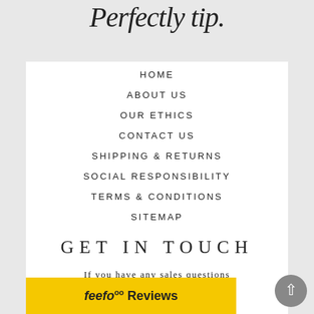Perfectly tip.
HOME
ABOUT US
OUR ETHICS
CONTACT US
SHIPPING & RETURNS
SOCIAL RESPONSIBILITY
TERMS & CONDITIONS
SITEMAP
GET IN TOUCH
If you have any sales questions please em... eauty.com
[Figure (logo): Feefo Reviews yellow banner logo]